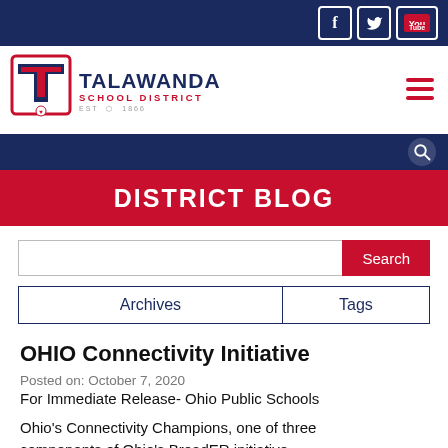Talawanda School District - Facebook, Twitter, YouTube social links
[Figure (logo): Talawanda School District logo with large red T and school name]
DISTRICT BLOG
Search
| Archives | Tags |
| --- | --- |
OHIO Connectivity Initiative
Posted on: October 7, 2020
For Immediate Release- Ohio Public Schools
Ohio's Connectivity Champions, one of three components of Ohio's BroadER initiative...